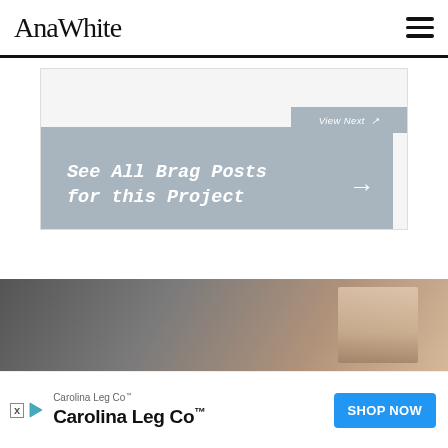AnaWhite
[Figure (screenshot): Light gray content box with 'View Next' button (gray) and 'See All Brag Posts for this Project' gray banner with arrow]
[Figure (photo): Dark blurred photo showing a hand or shoulder against a light background]
[Figure (infographic): Carolina Leg Co advertisement banner with blue SHOP NOW button]